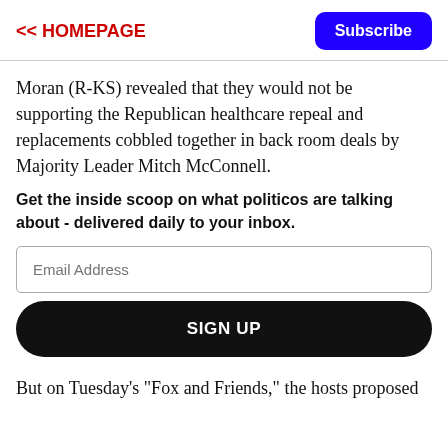<< HOMEPAGE   Subscribe
Moran (R-KS) revealed that they would not be supporting the Republican healthcare repeal and replacements cobbled together in back room deals by Majority Leader Mitch McConnell.
Get the inside scoop on what politicos are talking about - delivered daily to your inbox.
Email Address
SIGN UP
But on Tuesday's "Fox and Friends," the hosts proposed